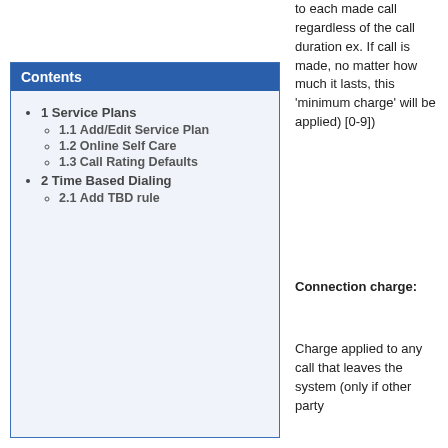to each made call regardless of the call duration ex. If call is made, no matter how much it lasts, this 'minimum charge' will be applied) [0-9])
Contents
1 Service Plans
1.1 Add/Edit Service Plan
1.2 Online Self Care
1.3 Call Rating Defaults
2 Time Based Dialing
2.1 Add TBD rule
Connection charge:
Charge applied to any call that leaves the system (only if other party...